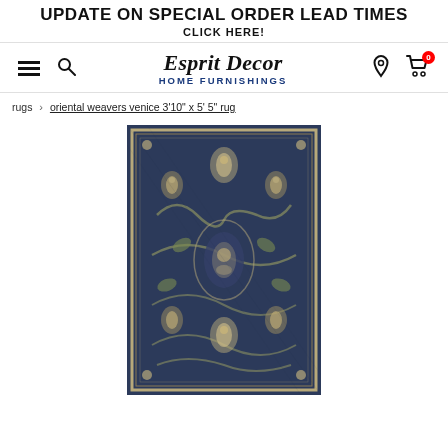UPDATE ON SPECIAL ORDER LEAD TIMES
CLICK HERE!
[Figure (logo): Esprit Decor Home Furnishings logo with hamburger menu, search icon, location icon, and cart icon with 0 badge]
rugs > oriental weavers venice 3'10" x 5' 5" rug
[Figure (photo): Oriental Weavers Venice rug with dark navy blue background and intricate floral/botanical pattern in beige and gold tones, rectangular shape with decorative border]